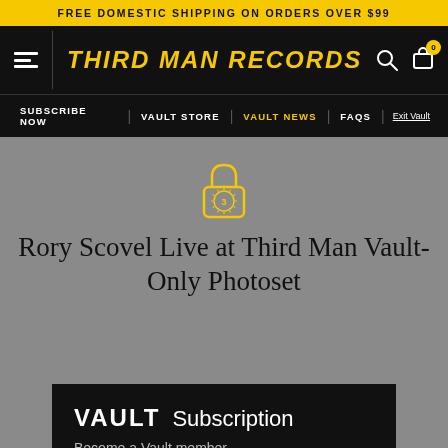FREE DOMESTIC SHIPPING ON ORDERS OVER $99
[Figure (logo): Third Man Records logo with hamburger menu icon on black background]
SUBSCRIBE NOW   VAULT STORE   VAULT NEWS   FAQS   Exit Vault
[Figure (logo): Golden padlock icon with sunburst design and number 3]
Rory Scovel Live at Third Man Vault-Only Photoset
[Figure (screenshot): VAULT Subscription card on black background with partial text below]